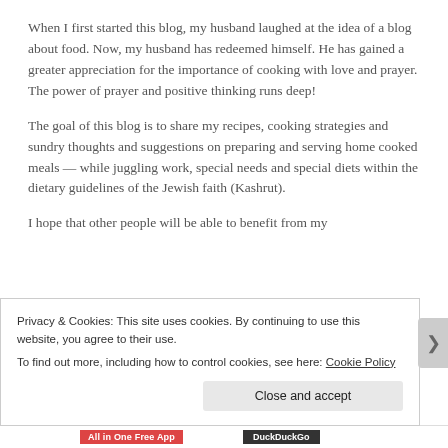When I first started this blog, my husband laughed at the idea of a blog about food. Now, my husband has redeemed himself. He has gained a greater appreciation for the importance of cooking with love and prayer. The power of prayer and positive thinking runs deep!
The goal of this blog is to share my recipes, cooking strategies and sundry thoughts and suggestions on preparing and serving home cooked meals — while juggling work, special needs and special diets within the dietary guidelines of the Jewish faith (Kashrut).
I hope that other people will be able to benefit from my
Privacy & Cookies: This site uses cookies. By continuing to use this website, you agree to their use.
To find out more, including how to control cookies, see here: Cookie Policy